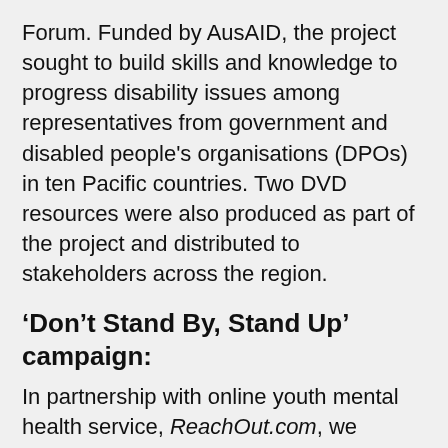Forum. Funded by AusAID, the project sought to build skills and knowledge to progress disability issues among representatives from government and disabled people's organisations (DPOs) in ten Pacific countries. Two DVD resources were also produced as part of the project and distributed to stakeholders across the region.
‘Don’t Stand By, Stand Up’ campaign:
In partnership with online youth mental health service, ReachOut.com, we launched a national campaign in May 2011 calling on young people to create an anti-bullying pledge. The goal was to highlight the important role that bystanders can play to prevent bullying. The ‘Don’t Stand By, Stand Up’ campaign encouraged young people to stand up to bullies, stand up for their friends and stand up for other young people who are being bullied.
A core element to the Campaign: A...